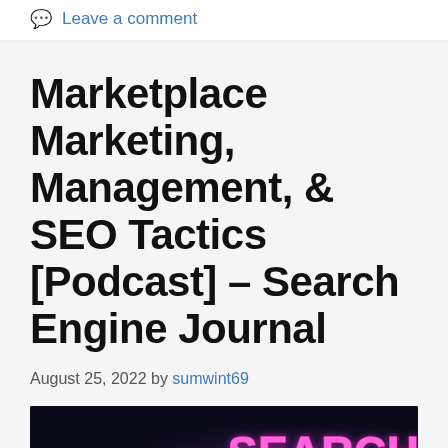Leave a comment
Marketplace Marketing, Management, & SEO Tactics [Podcast] – Search Engine Journal
August 25, 2022 by sumwint69
[Figure (photo): Dark background image with neon pink SEARCH text and a circular portrait photo, partially visible at bottom of page.]